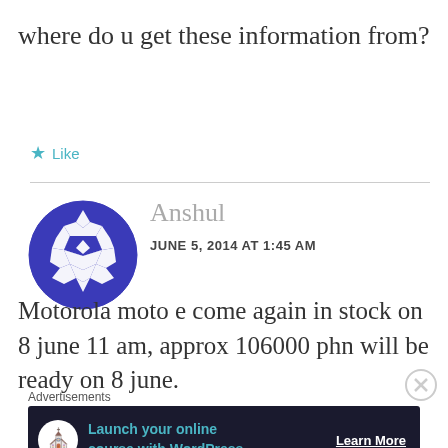where do u get these information from?
Like
[Figure (illustration): Decorative geometric avatar icon — blue/white diamond pattern in a circle]
Anshul
JUNE 5, 2014 AT 1:45 AM
Motorola moto e come again in stock on 8 june 11 am, approx 106000 phn will be ready on 8 june.
Advertisements
[Figure (infographic): Dark ad banner: 'Launch your online course with WordPress' with Learn More CTA]